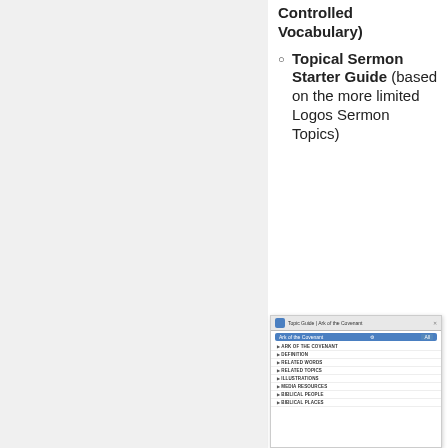Controlled Vocabulary)
Topical Sermon Starter Guide (based on the more limited Logos Sermon Topics)
[Figure (screenshot): Screenshot of a Topic Guide panel showing 'Ark of the Covenant' topic with sections: ARK OF THE COVENANT, DEFINITION, RELATED WORDS, RELATED TOPICS, ILLUSTRATIONS, MEDIA RESOURCES, BIBLICAL PEOPLE, BIBLICAL PLACES]